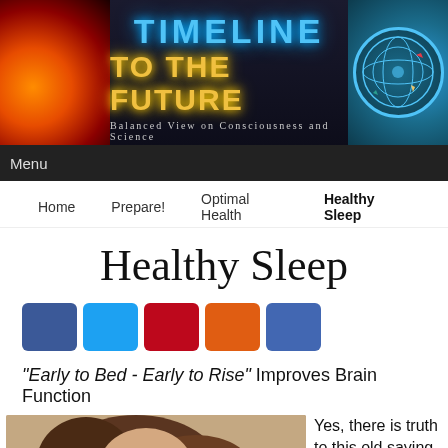[Figure (illustration): Website header banner for 'Timeline to the Future' with glowing text, orange sun orb on left, geometric sphere on right, subtitle 'Balanced View on Consciousness and Science']
Menu
Home  Prepare!  Optimal Health  Healthy Sleep
Healthy Sleep
[Figure (infographic): Five social sharing buttons: Facebook (blue), Twitter (light blue), Pinterest (dark red), share/reddit (orange), Facebook share (blue)]
"Early to Bed - Early to Rise" Improves Brain Function
[Figure (photo): Photo of a woman lying down with brown hair, appearing to be sleeping or resting]
Yes, there is truth to this old saying by Benjamin